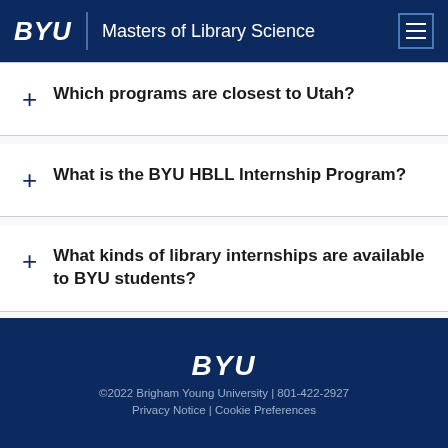BYU | Masters of Library Science
+ Which programs are closest to Utah?
+ What is the BYU HBLL Internship Program?
+ What kinds of library internships are available to BYU students?
BYU
©2022 Brigham Young University | 801-422-2927
Privacy Notice | Cookie Preferences